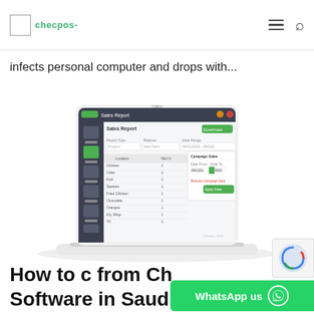checpos-
infects personal computer and drops with...
[Figure (screenshot): Screenshot of a POS/sales report software interface shown on a laptop, displaying a Sales Report screen with filter options, date range selectors, and a data table with categories like Chicken, Rice, Fish, Seekers, Fried Chicken, Chocolate, Oranges, Dry Shop, TV, with a calendar/date picker popup visible.]
How to c from Ch Software in Saudi Arabia?